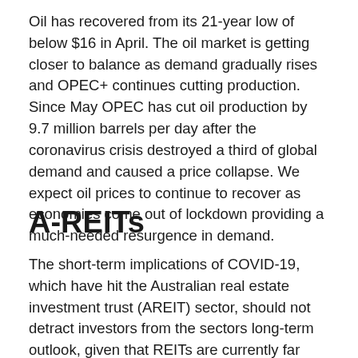Oil has recovered from its 21-year low of below $16 in April. The oil market is getting closer to balance as demand gradually rises and OPEC+ continues cutting production. Since May OPEC has cut oil production by 9.7 million barrels per day after the coronavirus crisis destroyed a third of global demand and caused a price collapse. We expect oil prices to continue to recover as economies come out of lockdown providing a much-needed resurgence in demand.
A-REITs
The short-term implications of COVID-19, which have hit the Australian real estate investment trust (AREIT) sector, should not detract investors from the sectors long-term outlook, given that REITs are currently far better positioned to recover than